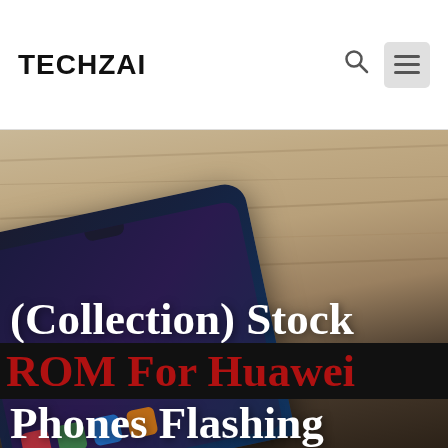TECHZAI
[Figure (photo): A Huawei smartphone lying on a wooden table surface, photographed from above at an angle. The phone has a dark screen with app icons visible. The image serves as the hero background for a tech blog article about Huawei Stock ROMs. Overlaid on the photo is bold white serif text reading '(Collection) Stock ROM For Huawei Phones Flashing' with a black banner strip behind 'ROM For Huawei' in red text.]
(Collection) Stock ROM For Huawei Phones Flashing